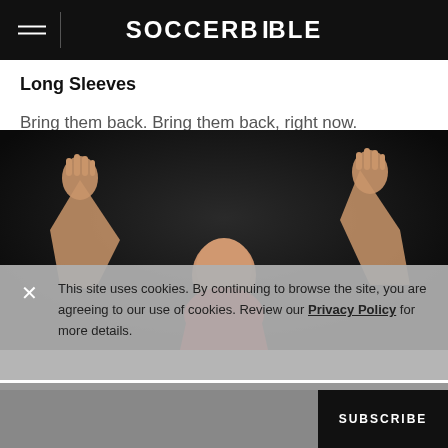SOCCERBIBLE
Long Sleeves
Bring them back. Bring them back, right now.
[Figure (photo): Two soccer players with arms raised against a dark background, one in red jersey]
This site uses cookies. By continuing to browse the site, you are agreeing to our use of cookies. Review our Privacy Policy for more details.
SUBSCRIBE